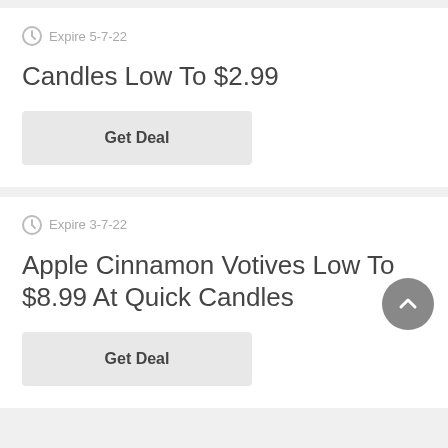Expire 5-7-22
Candles Low To $2.99
Get Deal
Expire 3-7-22
Apple Cinnamon Votives Low To $8.99 At Quick Candles
Get Deal